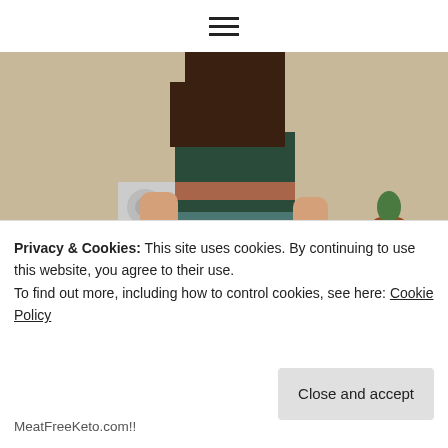[Figure (photo): A woman in a colorful patterned dress standing in a kitchen, chopping vegetables on a cutting board. Kitchen counters and cabinets visible in the background.]
Hi, I'm Liz, a Certified Nutrition Consultant and avid food-lover. I make gluten-free vegan recipes that are often sugar-free and
Privacy & Cookies: This site uses cookies. By continuing to use this website, you agree to their use.
To find out more, including how to control cookies, see here: Cookie Policy
Close and accept
MeatFreeKeto.com!!